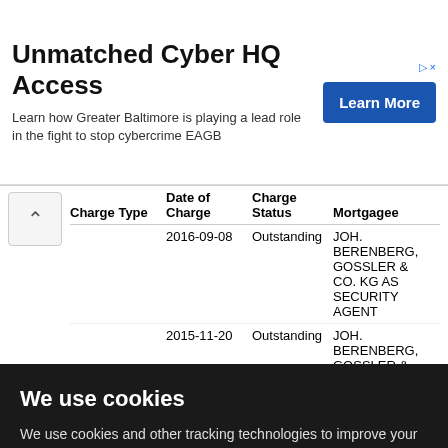[Figure (other): Advertisement banner for 'Unmatched Cyber HQ Access' featuring a Learn More button]
| Charge Type | Date of Charge | Charge Status | Mortgagee |
| --- | --- | --- | --- |
|  | 2016-09-08 | Outstanding | JOH. BERENBERG, GOSSLER & CO. KG AS SECURITY AGENT |
|  | 2015-11-20 | Outstanding | JOH. BERENBERG, GOSSLER & CO. KG AS SECURITY AGENT |
We use cookies
We use cookies and other tracking technologies to improve your browsing experience on our website, to show you personalized content and targeted ads, to analyze our website traffic, and